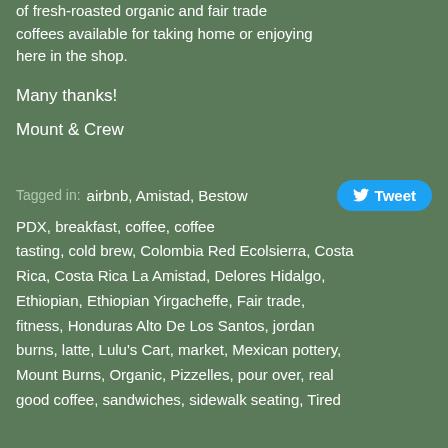of fresh-roasted organic and fair trade coffees available for taking home or enjoying here in the shop.
Many thanks!
Mount & Crew
Tagged in: airbnb, Amistad, Bestow
PDX, breakfast, coffee, coffee tasting, cold brew, Colombia Red Ecolsierra, Costa Rica, Costa Rica La Amistad, Delores Hidalgo, Ethiopian, Ethiopian Yirgacheffe, Fair trade, fitness, Honduras Alto De Los Santos, jordan burns, latte, Lulu's Cart, market, Mexican pottery, Mount Burns, Organic, Pizzelles, pour over, real good coffee, sandwiches, sidewalk seating, Tired